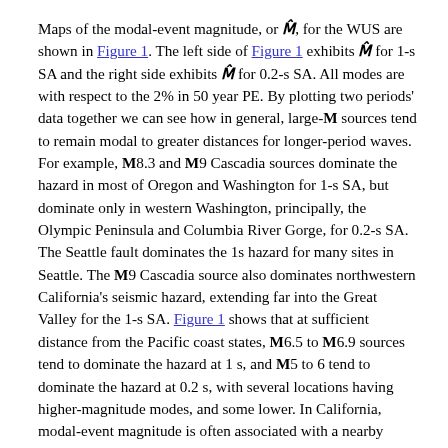Maps of the modal-event magnitude, or M-hat, for the WUS are shown in Figure 1. The left side of Figure 1 exhibits M-hat for 1-s SA and the right side exhibits M-hat for 0.2-s SA. All modes are with respect to the 2% in 50 year PE. By plotting two periods' data together we can see how in general, large-M sources tend to remain modal to greater distances for longer-period waves. For example, M8.3 and M9 Cascadia sources dominate the hazard in most of Oregon and Washington for 1-s SA, but dominate only in western Washington, principally, the Olympic Peninsula and Columbia River Gorge, for 0.2-s SA. The Seattle fault dominates the 1s hazard for many sites in Seattle. The M9 Cascadia source also dominates northwestern California's seismic hazard, extending far into the Great Valley for the 1-s SA. Figure 1 shows that at sufficient distance from the Pacific coast states, M6.5 to M6.9 sources tend to dominate the hazard at 1 s, and M5 to 6 tend to dominate the hazard at 0.2 s, with several locations having higher-magnitude modes, and some lower. In California, modal-event magnitude is often associated with a nearby fault, the most prominent of which is the San Andreas. San Andreas fault modal magnitudes are as great as 8 in northern California and 7.9 in southern California, although alternate-scenario magnitudes can exceed M8.5 California and Pacific Northwest, and these are still b...